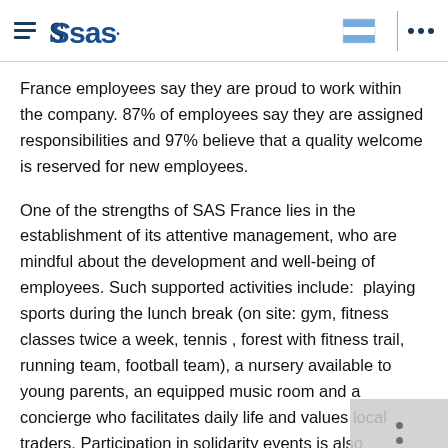SAS logo header with navigation icons and Argentina flag
France employees say they are proud to work within the company. 87% of employees say they are assigned responsibilities and 97% believe that a quality welcome is reserved for new employees.
One of the strengths of SAS France lies in the establishment of its attentive management, who are mindful about the development and well-being of employees. Such supported activities include:  playing sports during the lunch break (on site: gym, fitness classes twice a week, tennis , forest with fitness trail, running team, football team), a nursery available to young parents, an equipped music room and a concierge who facilitates daily life and values local traders. Participation in solidarity events is also proposed to reinforce the cohesion of the teams: